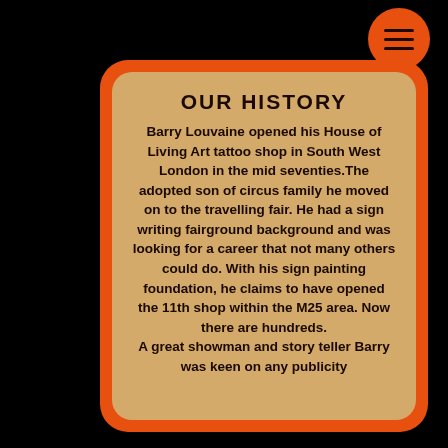OUR HISTORY
Barry Louvaine opened his House of Living Art tattoo shop in South West London in the mid seventies.The adopted son of circus family he moved on to the travelling fair. He had a sign writing fairground background and was looking for a career that not many others could do. With his sign painting foundation, he claims to have opened the 11th shop within the M25 area. Now there are hundreds.
A great showman and story teller Barry was keen on any publicity